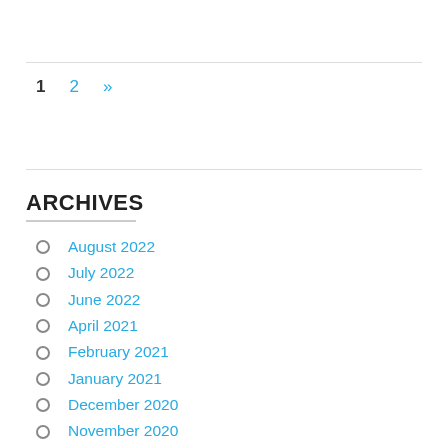1  2  »
ARCHIVES
August 2022
July 2022
June 2022
April 2021
February 2021
January 2021
December 2020
November 2020
October 2020